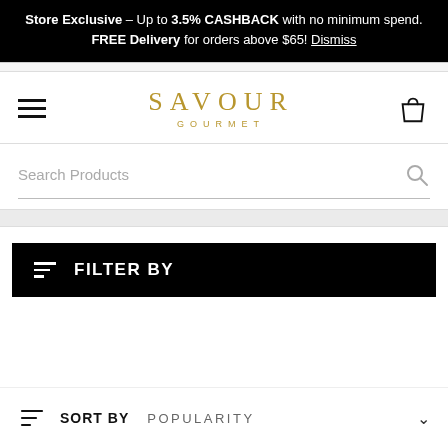Store Exclusive – Up to 3.5% CASHBACK with no minimum spend. FREE Delivery for orders above $65! Dismiss
[Figure (logo): Savour Gourmet logo with hamburger menu icon on left and shopping bag icon on right]
Search Products
FILTER BY
SORT BY   POPULARITY